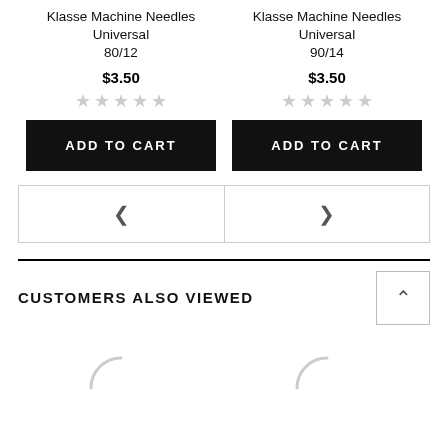Klasse Machine Needles Universal 80/12
Klasse Machine Needles Universal 90/14
$3.50
$3.50
ADD TO CART
ADD TO CART
< >
CUSTOMERS ALSO VIEWED
[Figure (other): Two loading spinner icons indicating content loading]